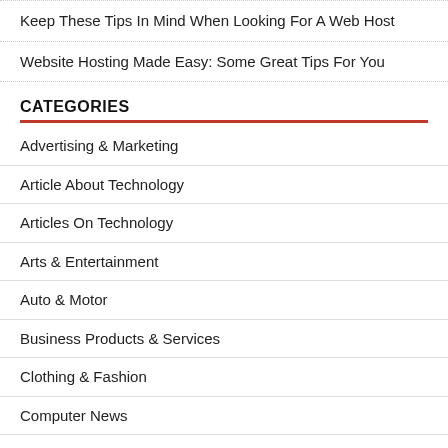Keep These Tips In Mind When Looking For A Web Host
Website Hosting Made Easy: Some Great Tips For You
CATEGORIES
Advertising & Marketing
Article About Technology
Articles On Technology
Arts & Entertainment
Auto & Motor
Business Products & Services
Clothing & Fashion
Computer News
Current Technology News